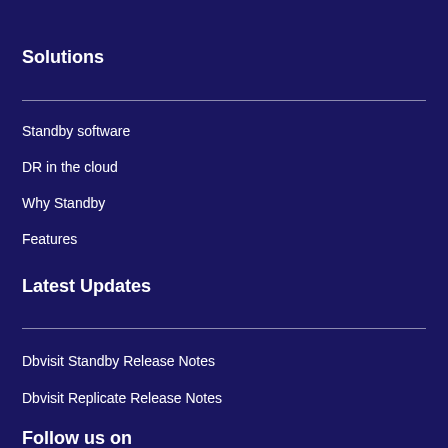Solutions
Standby software
DR in the cloud
Why Standby
Features
Latest Updates
Dbvisit Standby Release Notes
Dbvisit Replicate Release Notes
Follow us on